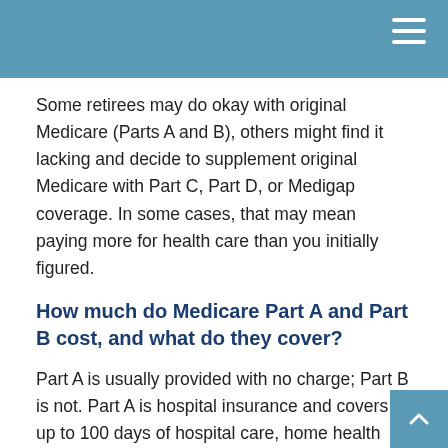Some retirees may do okay with original Medicare (Parts A and B), others might find it lacking and decide to supplement original Medicare with Part C, Part D, or Medigap coverage. In some cases, that may mean paying more for health care than you initially figured.
How much do Medicare Part A and Part B cost, and what do they cover?
Part A is usually provided with no charge; Part B is not. Part A is hospital insurance and covers up to 100 days of hospital care, home health care, nursing home care, and hospice care. Part B covers doctor visits, outpatient procedures, and lab work. You pay for Part B with monthly premiums.1
It's best to prepare for the copays and deductibles linked to original Medicare. In addition, original Medicare does not